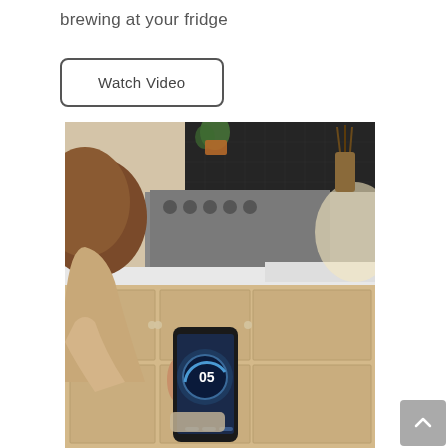brewing at your fridge
Watch Video
[Figure (photo): Woman viewed from behind holding a smartphone with an app interface showing '05' in a kitchen setting with cabinets and a stove in the background.]